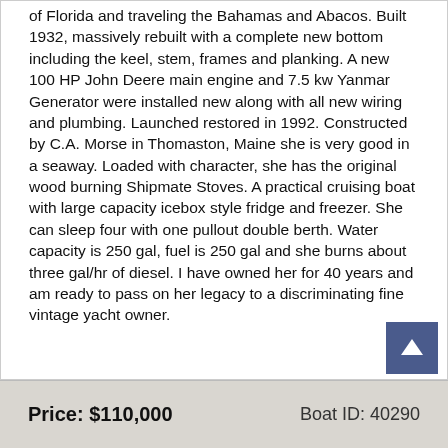of Florida and traveling the Bahamas and Abacos. Built 1932, massively rebuilt with a complete new bottom including the keel, stem, frames and planking. A new 100 HP John Deere main engine and 7.5 kw Yanmar Generator were installed new along with all new wiring and plumbing. Launched restored in 1992. Constructed by C.A. Morse in Thomaston, Maine she is very good in a seaway. Loaded with character, she has the original wood burning Shipmate Stoves. A practical cruising boat with large capacity icebox style fridge and freezer. She can sleep four with one pullout double berth. Water capacity is 250 gal, fuel is 250 gal and she burns about three gal/hr of diesel. I have owned her for 40 years and am ready to pass on her legacy to a discriminating fine vintage yacht owner.
Price: $110,000    Boat ID: 40290